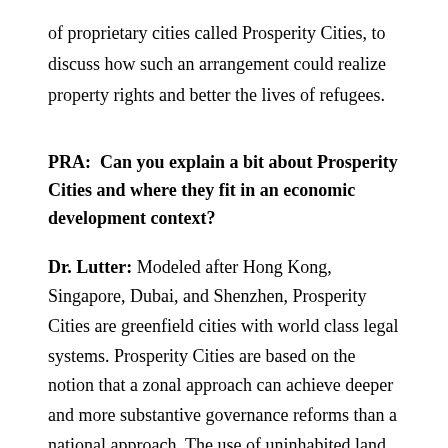of proprietary cities called Prosperity Cities, to discuss how such an arrangement could realize property rights and better the lives of refugees.
PRA:  Can you explain a bit about Prosperity Cities and where they fit in an economic development context?
Dr. Lutter: Modeled after Hong Kong, Singapore, Dubai, and Shenzhen, Prosperity Cities are greenfield cities with world class legal systems. Prosperity Cities are based on the notion that a zonal approach can achieve deeper and more substantive governance reforms than a national approach. The use of uninhabited land limits opposition by special interest groups.
Prosperity Cities help alleviate two major development problems